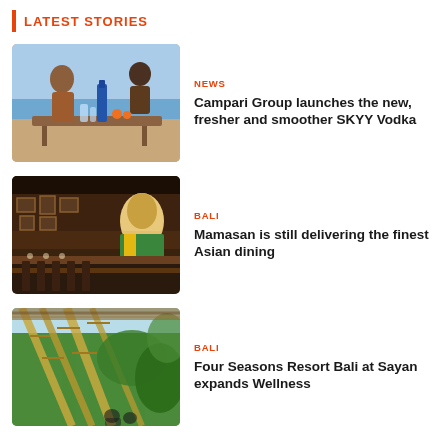LATEST STORIES
[Figure (photo): Outdoor beach bar scene with a blue SKYY vodka bottle on a wooden table, glasses, and people in the background near the ocean]
NEWS
Campari Group launches the new, fresher and smoother SKYY Vodka
[Figure (photo): Interior of Mamasan restaurant in Bali with dim lighting, framed artwork on walls, long dining tables, and a mural of an Asian child in colorful costume]
BALI
Mamasan is still delivering the finest Asian dining
[Figure (photo): Interior of a bamboo-structured venue at Four Seasons Resort Bali at Sayan with lush green jungle visible through open walls]
BALI
Four Seasons Resort Bali at Sayan expands Wellness